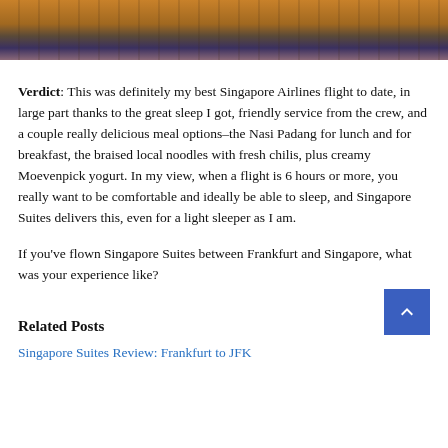[Figure (photo): Partial photo at top of page showing what appears to be clothing or fabric items, with warm brown/orange tones on the left and purple/blue patterned fabric in the center]
Verdict: This was definitely my best Singapore Airlines flight to date, in large part thanks to the great sleep I got, friendly service from the crew, and a couple really delicious meal options–the Nasi Padang for lunch and for breakfast, the braised local noodles with fresh chilis, plus creamy Moevenpick yogurt. In my view, when a flight is 6 hours or more, you really want to be comfortable and ideally be able to sleep, and Singapore Suites delivers this, even for a light sleeper as I am.
If you've flown Singapore Suites between Frankfurt and Singapore, what was your experience like?
Related Posts
Singapore Suites Review: Frankfurt to JFK